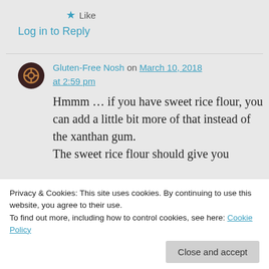★ Like
Log in to Reply
Gluten-Free Nosh on March 10, 2018 at 2:59 pm
Hmmm … if you have sweet rice flour, you can add a little bit more of that instead of the xanthan gum. The sweet rice flour should give you
Privacy & Cookies: This site uses cookies. By continuing to use this website, you agree to their use.
To find out more, including how to control cookies, see here: Cookie Policy
Close and accept
it, like Bob's Red Mill 1-to-1 flour